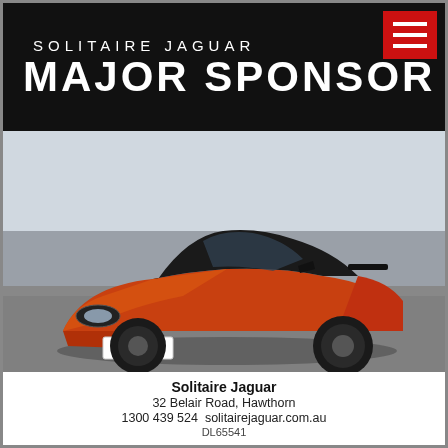SOLITAIRE JAGUAR
MAJOR SPONSOR
[Figure (photo): Orange Jaguar F-Type SVR sports coupe with license plate 986 UDY, photographed in motion on a road]
Solitaire Jaguar
32 Belair Road, Hawthorn
1300 439 524  solitairejaguar.com.au
DL65541